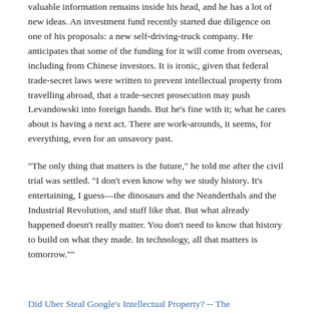valuable information remains inside his head, and he has a lot of new ideas. An investment fund recently started due diligence on one of his proposals: a new self-driving-truck company. He anticipates that some of the funding for it will come from overseas, including from Chinese investors. It is ironic, given that federal trade-secret laws were written to prevent intellectual property from travelling abroad, that a trade-secret prosecution may push Levandowski into foreign hands. But he’s fine with it; what he cares about is having a next act. There are work-arounds, it seems, for everything, even for an unsavory past.
“The only thing that matters is the future,” he told me after the civil trial was settled. “I don’t even know why we study history. It’s entertaining, I guess—the dinosaurs and the Neanderthals and the Industrial Revolution, and stuff like that. But what already happened doesn’t really matter. You don’t need to know that history to build on what they made. In technology, all that matters is tomorrow.””
Did Uber Steal Google’s Intellectual Property? -- The